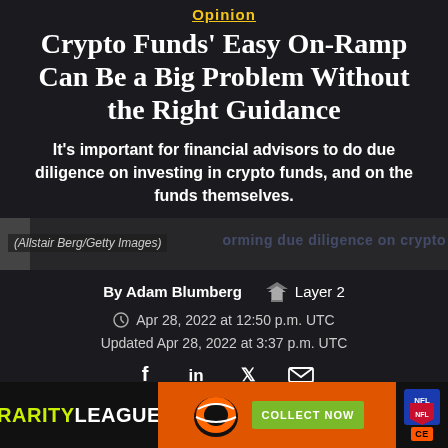Opinion
Crypto Funds' Easy On-Ramp Can Be a Big Problem Without the Right Guidance
It's important for financial advisors to do due diligence on investing in crypto funds, and on the funds themselves.
(Allstair Berg/Getty Images)
By Adam Blumberg
Layer 2
Apr 28, 2022 at 12:50 p.m. UTC
Updated Apr 28, 2022 at 3:37 p.m. UTC
[Figure (other): Social sharing icons: Facebook, LinkedIn, Twitter, Email]
[Figure (other): Advertisement banner: Rarity League / NFL Bengals Collect Now]